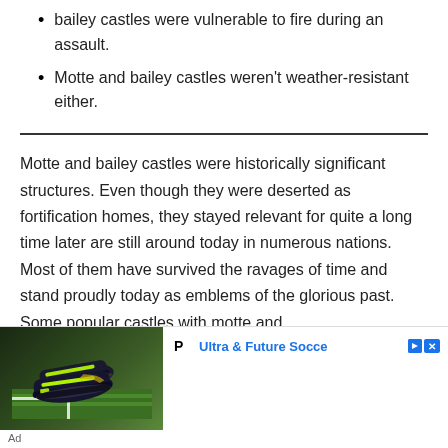bailey castles were vulnerable to fire during an assault.
Motte and bailey castles weren't weather-resistant either.
Motte and bailey castles were historically significant structures. Even though they were deserted as fortification homes, they stayed relevant for quite a long time later are still around today in numerous nations. Most of them have survived the ravages of time and stand proudly today as emblems of the glorious past. Some popular castles with motte and
[Figure (photo): Advertisement showing Puma soccer cleats (black and yellow-green) on a grass field with white line markings. Text reads 'Ultra & Future Socce' with Puma logo, close/ad navigation buttons, and 'Ad' label below.]